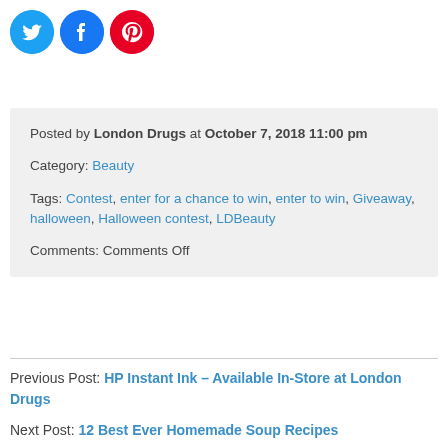[Figure (other): Three circular social media share buttons: Twitter (blue), Facebook (blue), Pinterest (red)]
Posted by London Drugs at October 7, 2018 11:00 pm
Category: Beauty
Tags: Contest, enter for a chance to win, enter to win, Giveaway, halloween, Halloween contest, LDBeauty
Comments: Comments Off
Previous Post: HP Instant Ink – Available In-Store at London Drugs
Next Post: 12 Best Ever Homemade Soup Recipes